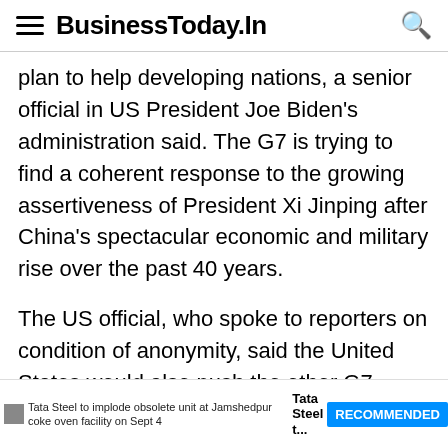BusinessToday.In
plan to help developing nations, a senior official in US President Joe Biden's administration said. The G7 is trying to find a coherent response to the growing assertiveness of President Xi Jinping after China's spectacular economic and military rise over the past 40 years.
The US official, who spoke to reporters on condition of anonymity, said the United States would also push the other G7 leaders for "concrete action on forced labour" in China, and to include criticism of Beijing in their final
Tata Steel to implode obsolete unit at Jamshedpur coke oven facility on Sept 4  Tata Steel t...  RECOMMENDED